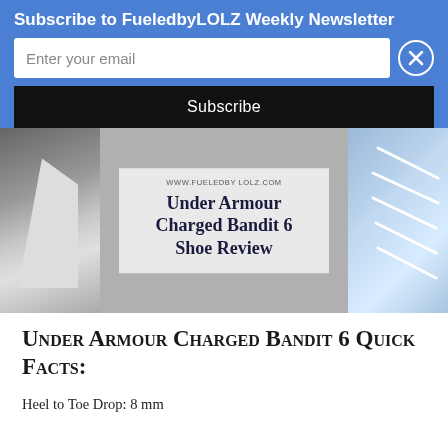Subscribe to FueledbyLOLZ Weekly Newsletter
[Figure (screenshot): Email subscription form with input field and Subscribe button on blue background, with close (X) button]
[Figure (photo): Under Armour Charged Bandit 6 Shoe Review hero image with shoe detail photos on left and right sides, URL www.fueledbyLOLZ.com at top center, overlaid white-background text block]
Under Armour Charged Bandit 6 Quick Facts:
Heel to Toe Drop: 8 mm